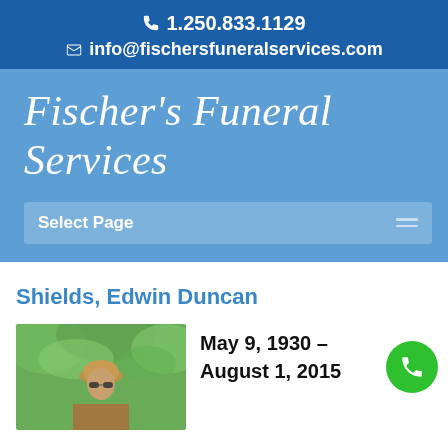1.250.833.1129
info@fischersfuneralservices.com
Fischer's Funeral Services
Select Page
Shields, Edwin Duncan
[Figure (photo): Portrait photo of a man wearing a hat and sunglasses outdoors with green foliage in background]
May 9, 1930 – August 1, 2015